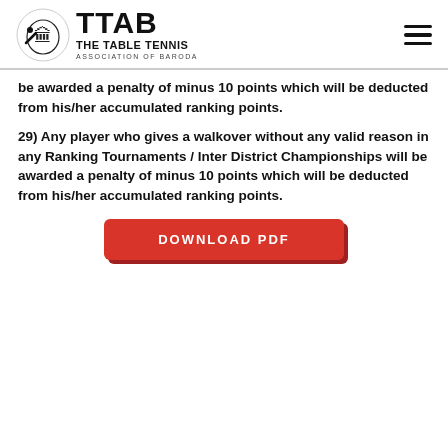TTAB THE TABLE TENNIS ASSOCIATION OF BARODA
be awarded a penalty of minus 10 points which will be deducted from his/her accumulated ranking points.
29) Any player who gives a walkover without any valid reason in any Ranking Tournaments / Inter District Championships will be awarded a penalty of minus 10 points which will be deducted from his/her accumulated ranking points.
[Figure (other): Red button labeled DOWNLOAD PDF]